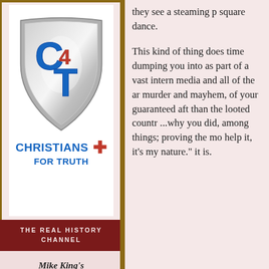[Figure (logo): Christians for Truth shield logo with C4T letters in blue and red on metallic shield, with 'CHRISTIANS FOR TRUTH' text and red cross below]
THE REAL HISTORY CHANNEL
Mike King's
[Figure (logo): The Real logo strip with red tomato icon and 'THE REAL' text in red italic on gold background]
they see a steaming p square dance. This kind of thing does time dumping you into as part of a vast intern media and all of the ar murder and mayhem, of your guaranteed aft than the looted countr ...why you did, among things; proving the mo help it, it's my nature." it is.